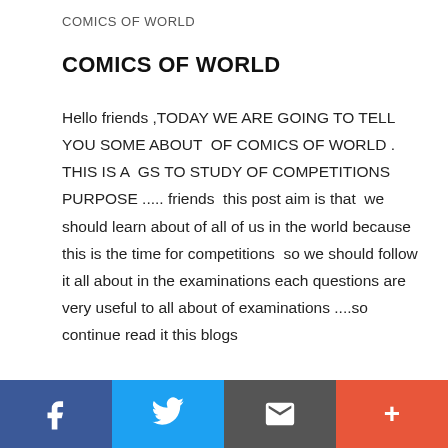COMICS OF WORLD
COMICS OF WORLD
Hello friends ,TODAY WE ARE GOING TO TELL YOU SOME ABOUT  OF COMICS OF WORLD . THIS IS A  GS TO STUDY OF COMPETITIONS PURPOSE ..... friends  this post aim is that  we should learn about of all of us in the world because this is the time for competitions  so we should follow it all about in the examinations each questions are very useful to all about of examinations ....so continue read it this blogs
Social share buttons: Facebook, Twitter, Email, Add